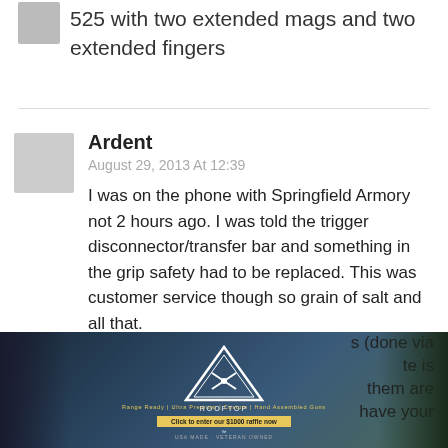525 with two extended mags and two extended fingers
Ardent
August 29, 2013 At 12:39
I was on the phone with Springfield Armory not 2 hours ago. I was told the trigger disconnector/transfer bar and something in the grip safety had to be replaced. This was customer service though so grain of salt and all that.
The return label and RMA are email only, you must have a printer to get the actual label. It does NOT
s (done via te is them are have your
[Figure (photo): Rooftop Arms advertisement banner showing tactical rifles/wheels with logo and triangle emblem]